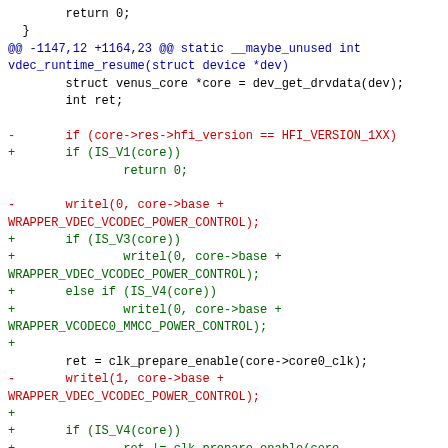Code diff showing changes to vdec_runtime_resume function including replacement of HFI_VERSION_1XX check with IS_V1/IS_V3/IS_V4 macros and writel/clk_prepare_enable calls.